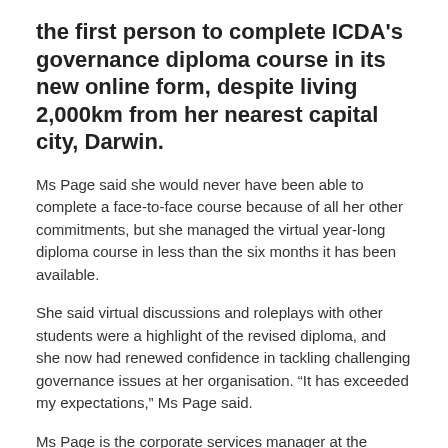the first person to complete ICDA's governance diploma course in its new online form, despite living 2,000km from her nearest capital city, Darwin.
Ms Page said she would never have been able to complete a face-to-face course because of all her other commitments, but she managed the virtual year-long diploma course in less than the six months it has been available.
She said virtual discussions and roleplays with other students were a highlight of the revised diploma, and she now had renewed confidence in tackling challenging governance issues at her organisation. “It has exceeded my expectations,” Ms Page said.
Ms Page is the corporate services manager at the Garnduwa Amboorny Wirnan Aboriginal Corporation